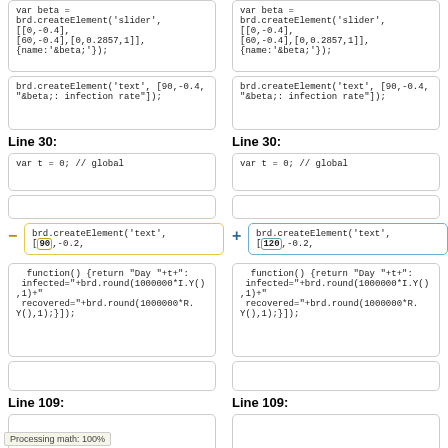var beta =
brd.createElement('slider', [[0,-0.4],
[60,-0.4],[0,0.2857,1]],
{name:'&beta;'});
var beta =
brd.createElement('slider', [[0,-0.4],
[60,-0.4],[0,0.2857,1]],
{name:'&beta;'});
brd.createElement('text', [90,-0.4,
"&beta;: infection rate"]);
brd.createElement('text', [90,-0.4,
"&beta;: infection rate"]);
Line 30:
Line 30:
var t = 0; // global
var t = 0; // global
brd.createElement('text', [90,-0.2,
brd.createElement('text', [120,-0.2,
function() {return "Day "+t+": infected="+brd.round(1000000*I.Y(),1)+" recovered="+brd.round(1000000*R.Y(),1);}]);
function() {return "Day "+t+": infected="+brd.round(1000000*I.Y(),1)+" recovered="+brd.round(1000000*R.Y(),1);}]);
Line 109:
Line 109:
Processing math: 100%